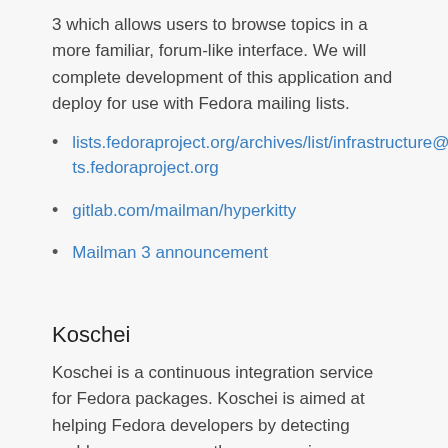3 which allows users to browse topics in a more familiar, forum-like interface. We will complete development of this application and deploy for use with Fedora mailing lists.
lists.fedoraproject.org/archives/list/infrastructure@lists.fedoraproject.org
gitlab.com/mailman/hyperkitty
Mailman 3 announcement
Koschei
Koschei is a continuous integration service for Fedora packages. Koschei is aimed at helping Fedora developers by detecting problems as soon as they appear in Rawhide. It tries to detect package FTBFS in Rawhide by scratch-